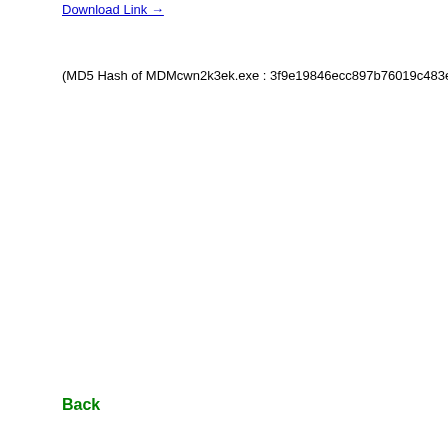Download Link →
(MD5 Hash of MDMcwn2k3ek.exe : 3f9e19846ecc897b76019c483e3e0c80)
Back